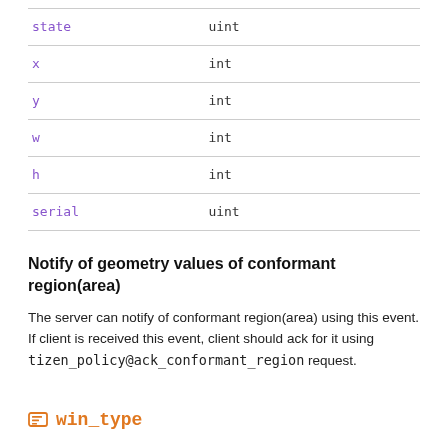| field | type |
| --- | --- |
| state | uint |
| x | int |
| y | int |
| w | int |
| h | int |
| serial | uint |
Notify of geometry values of conformant region(area)
The server can notify of conformant region(area) using this event. If client is received this event, client should ack for it using tizen_policy@ack_conformant_region request.
win_type